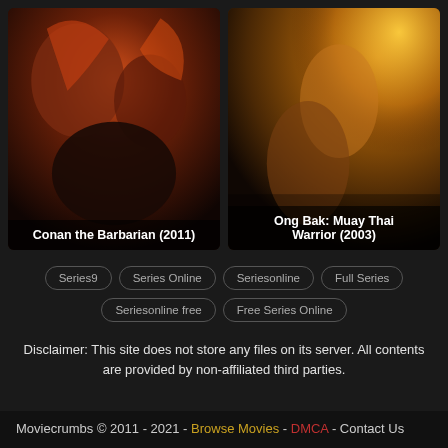[Figure (photo): Movie poster for Conan the Barbarian (2011) showing a muscular warrior with sword surrounded by fire and characters]
Conan the Barbarian (2011)
[Figure (photo): Movie poster for Ong Bak: Muay Thai Warrior (2003) showing a martial artist in fighting pose with fire and golden tones]
Ong Bak: Muay Thai Warrior (2003)
Series9
Series Online
Seriesonline
Full Series
Seriesonline free
Free Series Online
Disclaimer: This site does not store any files on its server. All contents are provided by non-affiliated third parties.
Moviecrumbs © 2011 - 2021 - Browse Movies - DMCA - Contact Us